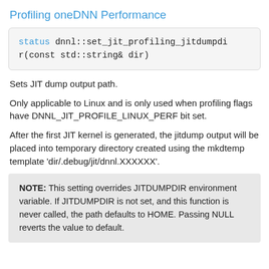Profiling oneDNN Performance
status dnnl::set_jit_profiling_jitdumpdir(const std::string& dir)
Sets JIT dump output path.
Only applicable to Linux and is only used when profiling flags have DNNL_JIT_PROFILE_LINUX_PERF bit set.
After the first JIT kernel is generated, the jitdump output will be placed into temporary directory created using the mkdtemp template 'dir/.debug/jit/dnnl.XXXXXX'.
NOTE: This setting overrides JITDUMPDIR environment variable. If JITDUMPDIR is not set, and this function is never called, the path defaults to HOME. Passing NULL reverts the value to default.